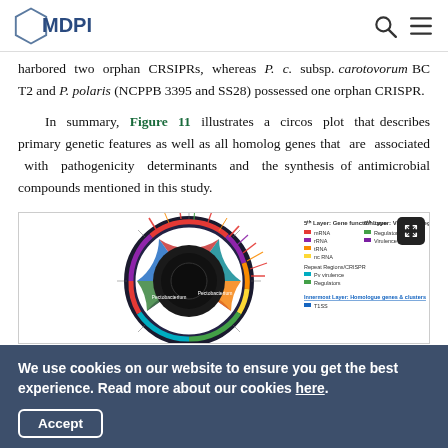MDPI
harbored two orphan CRSIPRs, whereas P. c. subsp. carotovorum BC T2 and P. polaris (NCPPB 3395 and SS28) possessed one orphan CRISPR.
In summary, Figure 11 illustrates a circos plot that describes primary genetic features as well as all homolog genes that are associated with pathogenicity determinants and the synthesis of antimicrobial compounds mentioned in this study.
[Figure (other): Circos plot showing genomic features including gene function types (mRNA, rRNA, tRNA, ncRNA), Repeat Regions/CRISPRs, Pv virulence, Regulators, and a legend for virulence regulation (Regulator genes, Virulence genes), and innermost layer homologue genes and clusters.]
We use cookies on our website to ensure you get the best experience. Read more about our cookies here.